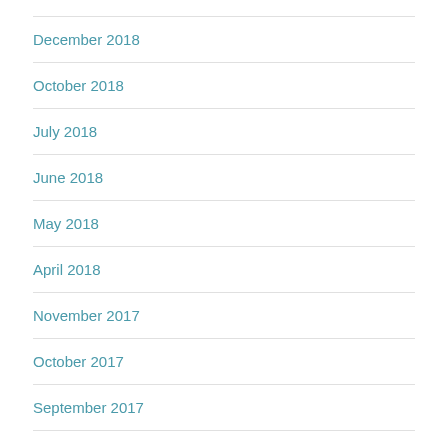December 2018
October 2018
July 2018
June 2018
May 2018
April 2018
November 2017
October 2017
September 2017